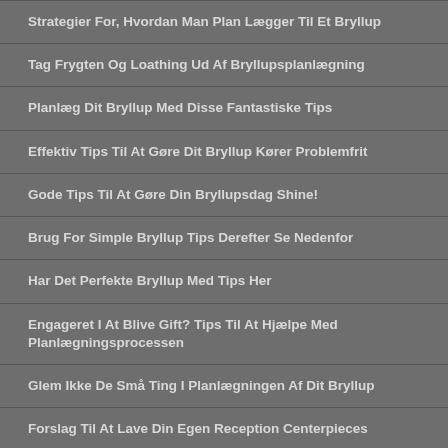Strategier For, Hvordan Man Plan Lægger Til Et Bryllup
Tag Frygten Og Loathing Ud Af Bryllupsplanlægning
Planlæg Dit Bryllup Med Disse Fantastiske Tips
Effektiv Tips Til At Gøre Dit Bryllup Kører Problemfrit
Gode Tips Til At Gøre Din Bryllupsdag Shine!
Brug For Simple Bryllup Tips Derefter Se Nedenfor
Har Det Perfekte Bryllup Med Tips Her
Engageret I At Blive Gift? Tips Til At Hjælpe Med Planlægningsprocessen
Glem Ikke De Små Ting I Planlægningen Af Dit Bryllup
Forslag Til At Lave Din Egen Reception Centerpieces